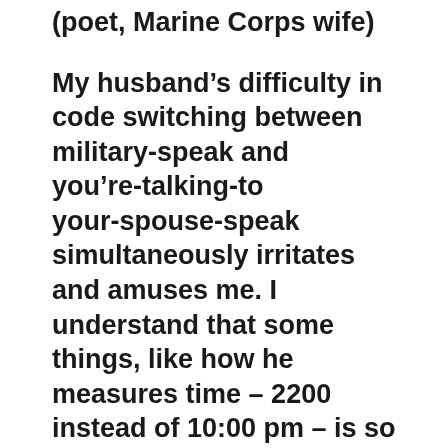(poet, Marine Corps wife)
My husband’s difficulty in code switching between military-speak and you’re-talking-to your-spouse-speak simultaneously irritates and amuses me. I understand that some things, like how he measures time – 2200 instead of 10:00 pm – is so ingrained that I really should expect it to last the rest of his life. Plus, that’s no big deal to get used to, subtracting 12 is easy, and a lot of other countries use the same standard for referring to time of day.
When my husband says things like “roger” at the dinner table, then he sounds like a caricature from Gomer Pile or the character Mike Watt from the BBC series Spaced, and it makes me cringe. For